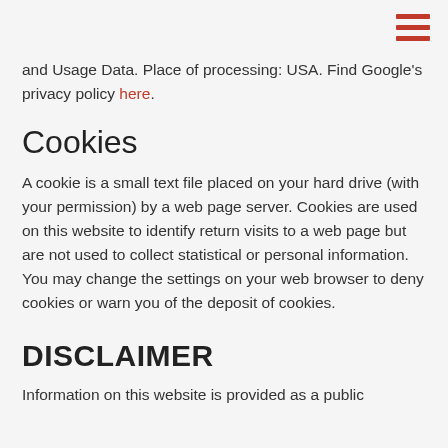and Usage Data. Place of processing: USA. Find Google's privacy policy here.
Cookies
A cookie is a small text file placed on your hard drive (with your permission) by a web page server. Cookies are used on this website to identify return visits to a web page but are not used to collect statistical or personal information. You may change the settings on your web browser to deny cookies or warn you of the deposit of cookies.
DISCLAIMER
Information on this website is provided as a public